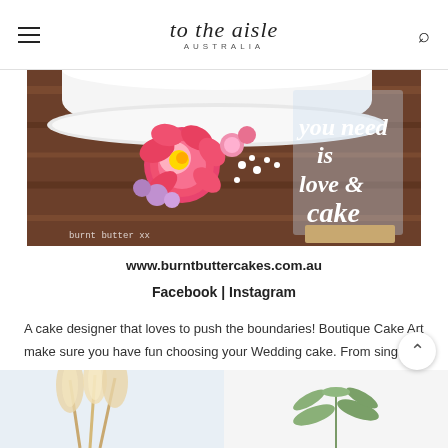to the aisle AUSTRALIA
[Figure (photo): Wedding cake on wooden table with pink flowers and an acrylic sign reading 'you need is love & cake', watermark 'burnt butter xx']
www.burntbuttercakes.com.au
Facebook | Instagram
A cake designer that loves to push the boundaries! Boutique Cake Art make sure you have fun choosing your Wedding cake. From single tier to 4 tiers - wood texture, lace or blue!
[Figure (photo): Two partial images at the bottom: left shows pampas grass / feathery plant against light background; right shows fern/greenery on white background]